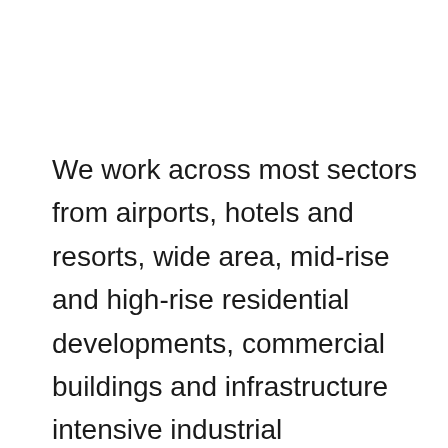We work across most sectors from airports, hotels and resorts, wide area, mid-rise and high-rise residential developments, commercial buildings and infrastructure intensive industrial structures. Our ability to provide value engineering and turnkey solutions as well as design engineering services is what makes us different.